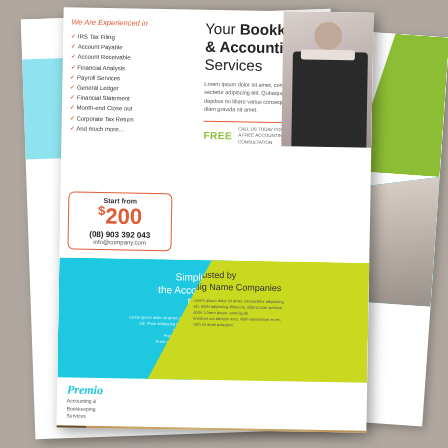Your Bookkeeping & Accounting Services
We Are Experienced in
IRS Tax Filing
Account Payable
Account Receivable
Financial Analysis
Payroll Services
General Ledger
Financial Statement
Month-end Close out
Corporate Tax Return
And much more...
Lorem ipsum dolor sit amet, consectetur adipiscing elit. Qubaque dapibus mi libero varius consequat, diam gravida sit amet.
FREE  CALL US TODAY FOR A FREE ACCOUNTING CONSULTATION
Start from
$200
(08) 903 392 043
info@company.com
Simplifying the Accounting Process
Lorem ipsum dolor sit amet, consectetur adipiscing elit. Proin adipiscing nisi, porta metus. Ut mollis ipsum volutpat adipiscing. Proin aenean risus, stet ultricies.
Premio
Accounting &
Bookkeeping
Services
Trusted by Big Name Companies
Lorem ipsum dolor sit amet, consectetur adipiscing elit, amet adipiscing libero mi, ullamcorper pretium dolor. Lorem ipsum, ante ligula tincidunt vut aenean arcu. Nibh elementum ex ex, nibh sit amet praesent.
[Figure (photo): Professional businesswoman in black suit holding calculator, smiling]
[Figure (photo): Hands working with financial spreadsheets and pencil on desk with calculator]